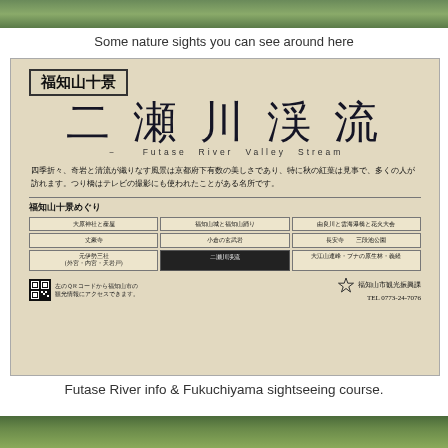[Figure (photo): Top portion of a nature photo, cropped at top of page]
Some nature sights you can see around here
[Figure (photo): Photo of a Japanese information sign for Futase River Valley Stream (二瀬川渓流), one of the Fukuchiyama Ten Sights (福知山十景). The sign includes Japanese text description, a sightseeing course map grid, QR code, and contact information for Fukuchiyama City Tourism Division TEL 0773-24-7076.]
Futase River info & Fukuchiyama sightseeing course.
[Figure (photo): Bottom portion of a nature photo, partially visible at bottom of page]